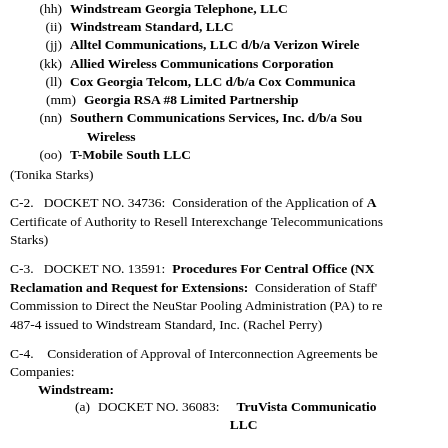(hh) Windstream Georgia Telephone, LLC
(ii) Windstream Standard, LLC
(jj) Alltel Communications, LLC d/b/a Verizon Wireless
(kk) Allied Wireless Communications Corporation
(ll) Cox Georgia Telcom, LLC d/b/a Cox Communications
(mm) Georgia RSA #8 Limited Partnership
(nn) Southern Communications Services, Inc. d/b/a Southern Wireless
(oo) T-Mobile South LLC
(Tonika Starks)
C-2. DOCKET NO. 34736: Consideration of the Application of A Certificate of Authority to Resell Interexchange Telecommunications. Starks)
C-3. DOCKET NO. 13591: Procedures For Central Office (NXX) Reclamation and Request for Extensions: Consideration of Staff's Commission to Direct the NeuStar Pooling Administration (PA) to reclaim 487-4 issued to Windstream Standard, Inc. (Rachel Perry)
C-4. Consideration of Approval of Interconnection Agreements between Companies:
Windstream:
(a) DOCKET NO. 36083: TruVista Communications LLC